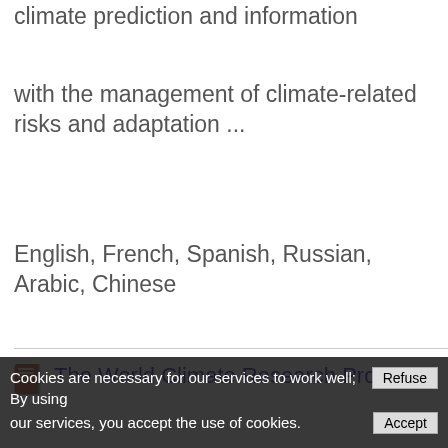climate prediction and information
with the management of climate-related risks and adaptation ...
English, French, Spanish, Russian, Arabic, Chinese
[Figure (other): Document/book icon for search result]
The World Climate Research Programme: scientific knowledge for climate adaptation and management
World Meteorological Organization (WMO) - WMO, 2...
This report illustrates the depth and breadth of observation, analysis, modelling and synthesis, and climate background activities that are being coordinated by WCRP. In...
Cookies are necessary for our services to work well; By using our services, you accept the use of cookies.